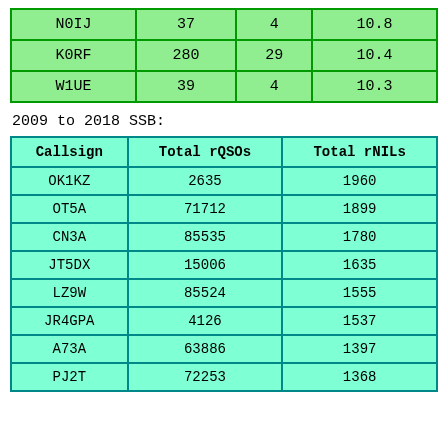| N0IJ | 37 | 4 | 10.8 |
| K0RF | 280 | 29 | 10.4 |
| W1UE | 39 | 4 | 10.3 |
2009 to 2018 SSB:
| Callsign | Total rQSOs | Total rNILs |
| --- | --- | --- |
| OK1KZ | 2635 | 1960 |
| OT5A | 71712 | 1899 |
| CN3A | 85535 | 1780 |
| JT5DX | 15006 | 1635 |
| LZ9W | 85524 | 1555 |
| JR4GPA | 4126 | 1537 |
| A73A | 63886 | 1397 |
| PJ2T | 72253 | 1368 |